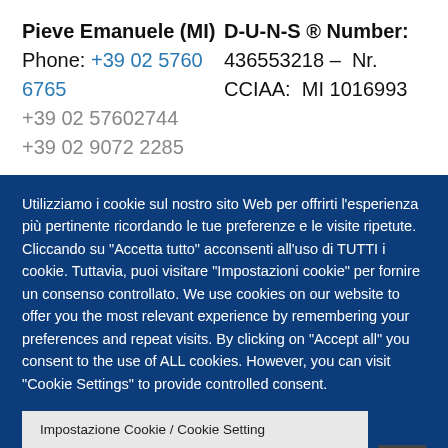Pieve Emanuele (MI)
Phone: +39 02 5760 6765
+39 02 57602744
+39 02 9072 2285
D-U-N-S ® Number: 436553218 – Nr. CCIAA: MI 1016993
Utilizziamo i cookie sul nostro sito Web per offrirti l'esperienza più pertinente ricordando le tue preferenze e le visite ripetute. Cliccando su "Accetta tutto" acconsenti all'uso di TUTTI i cookie. Tuttavia, puoi visitare "Impostazioni cookie" per fornire un consenso controllato. We use cookies on our website to offer you the most relevant experience by remembering your preferences and repeat visits. By clicking on "Accept all" you consent to the use of ALL cookies. However, you can visit "Cookie Settings" to provide controlled consent.
Impostazione Cookie / Cookie Setting
Accetta Tutto /Accept All
Rifiuto Tutti/Reject All